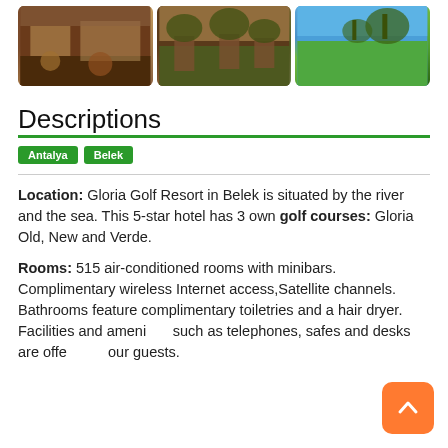[Figure (photo): Three hotel photos: indoor dining room, outdoor terrace seating, golf course with trees]
Descriptions
Antalya  Belek
Location: Gloria Golf Resort in Belek is situated by the river and the sea. This 5-star hotel has 3 own golf courses: Gloria Old, New and Verde.
Rooms: 515 air-conditioned rooms with minibars. Complimentary wireless Internet access,Satellite channels. Bathrooms feature complimentary toiletries and a hair dryer. Facilities and amenities such as telephones, safes and desks are offered to our guests.